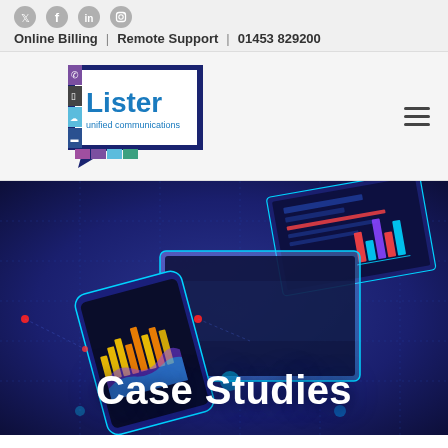Online Billing | Remote Support | 01453 829200
[Figure (logo): Lister Unified Communications logo — dark blue speech bubble shape with multicolored vertical icon strip on left, company name 'Lister' in blue, tagline 'unified communications' in smaller text]
[Figure (photo): Dark blue/purple background hero banner image showing futuristic glowing digital devices — laptops, tablets, smartphones — with holographic data visualizations, bar charts, and interface screens floating above them. Red glowing dots scattered across the scene. Text overlay reads 'Case Studies' in large bold white text.]
Case Studies